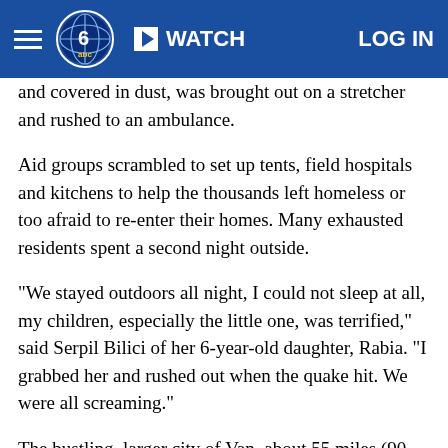WATCH | LOG IN
and covered in dust, was brought out on a stretcher and rushed to an ambulance.
Aid groups scrambled to set up tents, field hospitals and kitchens to help the thousands left homeless or too afraid to re-enter their homes. Many exhausted residents spent a second night outside.
"We stayed outdoors all night, I could not sleep at all, my children, especially the little one, was terrified," said Serpil Bilici of her 6-year-old daughter, Rabia. "I grabbed her and rushed out when the quake hit. We were all screaming."
The bustling, larger city of Van, about 55 miles (90 kilometers) south of Ercis, also sustained substantial damage. Prime Minister Recep Tayyip Erdogan, who